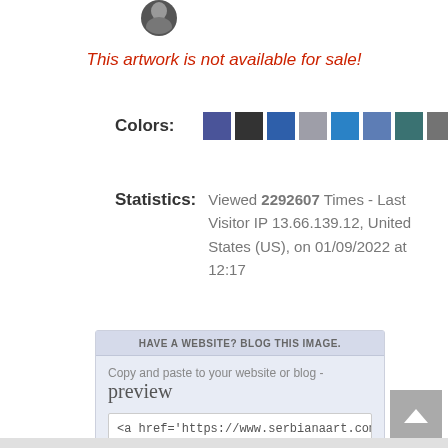[Figure (photo): Small circular avatar photo of a person, partially visible at top]
This artwork is not available for sale!
Colors:
[Figure (infographic): Row of 10 color swatches: dark blue, dark gray/black, medium blue, light gray, bright blue, medium blue-gray, teal, gray, light teal, pale light blue]
Statistics:
Viewed 2292607 Times - Last Visitor IP 13.66.139.12, United States (US), on 01/09/2022 at 12:17
HAVE A WEBSITE? BLOG THIS IMAGE.
Copy and paste to your website or blog - preview
<a href='https://www.serbianaart.com/details.php?id=.